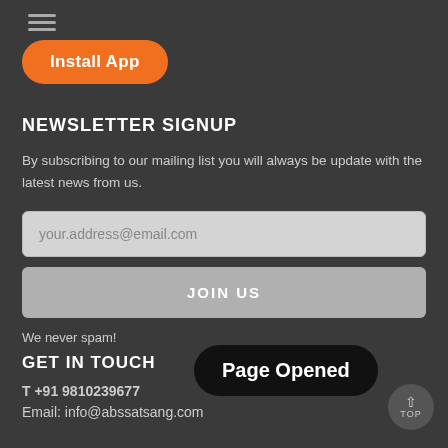[Figure (illustration): Hamburger menu icon (three horizontal lines)]
[Figure (illustration): Orange rounded button labeled Install App]
NEWSLETTER SIGNUP
By subscribing to our mailing list you will always be update with the latest news from us.
your.address@email.com
JOIN US
We never spam!
GET IN TOUCH
T +91 9810239677
Email: info@abssatsang.com
[Figure (illustration): Dark rounded badge with text Page Opened]
[Figure (illustration): TOP scroll-to-top button circle]